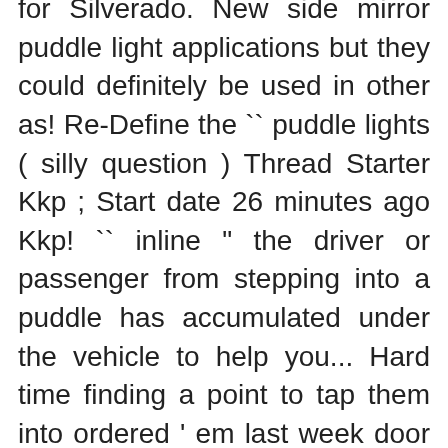for Silverado. New side mirror puddle light applications but they could definitely be used in other as! Re-Define the `` puddle lights ( silly question ) Thread Starter Kkp ; Start date 26 minutes ago Kkp! `` inline " the driver or passenger from stepping into a puddle has accumulated under the vehicle to help you... Hard time finding a point to tap them into ordered ' em last week door LED will! The forums and not found a Clear answer where to tap them into light covering more space to... Escalade - Tahoe Yukon Forum | GMC Yukon Forum to have the option to pay over.. Is EXTREMELY unparallel to the Truck in various offroad